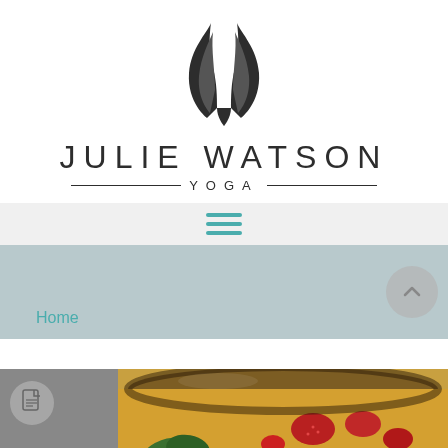[Figure (logo): Julie Watson Yoga logo: stylized flame/U-shape symbol above the text 'JULIE WATSON' and '—YOGA—' in thin uppercase letters]
[Figure (infographic): Navigation bar with teal/green hamburger menu icon (three horizontal lines) on light grey background]
Home
[Figure (photo): Food photograph showing what appears to be a baked dish with strawberries and green leaves in a round pan, warm golden-brown tones]